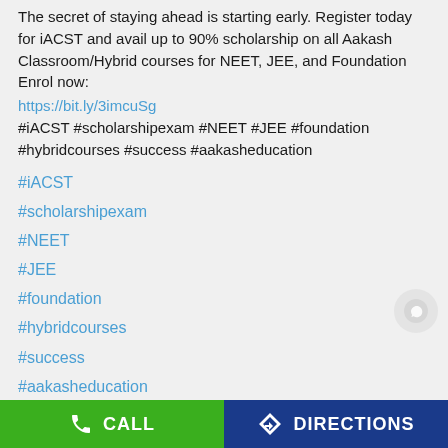The secret of staying ahead is starting early. Register today for iACST and avail up to 90% scholarship on all Aakash Classroom/Hybrid courses for NEET, JEE, and Foundation Enrol now:
https://bit.ly/3imcuSg
#iACST #scholarshipexam #NEET #JEE #foundation #hybridcourses #success #aakasheducation
#iACST
#scholarshipexam
#NEET
#JEE
#foundation
#hybridcourses
#success
#aakasheducation
Posted On: 06 Jun 2021 12:00 PM
CALL   DIRECTIONS